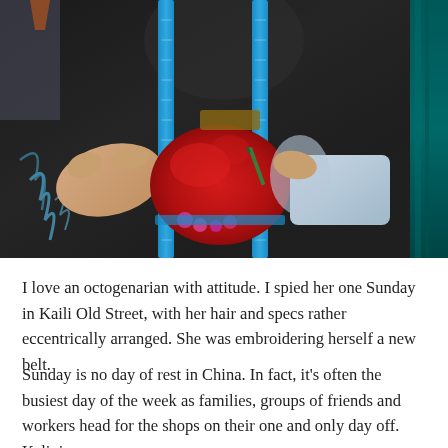[Figure (photo): Close-up photo of an elderly person wearing a black garment with a blue measuring tape around their neck, holding a red embroidered fabric item (a belt or pouch) and working on it with a green needle/tool. Colorful threads and fabrics are visible in the background.]
I love an octogenarian with attitude. I spied her one Sunday in Kaili Old Street, with her hair and specs rather eccentrically arranged. She was embroidering herself a new belt.
Sunday is no day of rest in China. In fact, it's often the busiest day of the week as families, groups of friends and workers head for the shops on their one and only day off. Kali, in